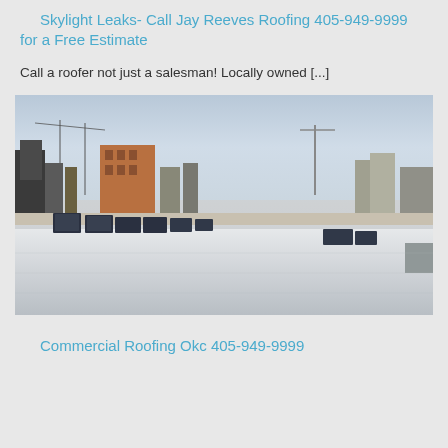Skylight Leaks- Call Jay Reeves Roofing 405-949-9999 for a Free Estimate
Call a roofer not just a salesman! Locally owned [...]
[Figure (photo): Aerial view of a flat commercial rooftop with multiple skylights, showing a white/light-colored membrane roof surface. City buildings visible in background under a hazy sky.]
Commercial Roofing Okc 405-949-9999